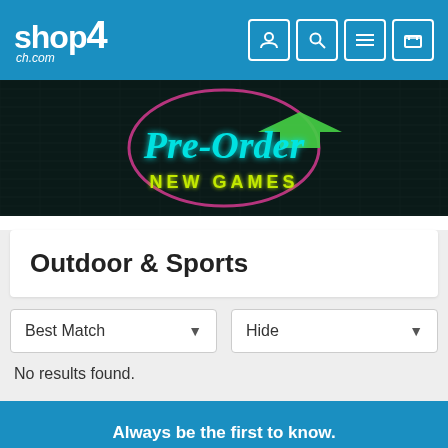shop4ch.com
[Figure (illustration): Banner image on dark brick wall background showing neon sign text 'Pre-Order NEW GAMES' with green arrow and pink circle outline]
Outdoor & Sports
Best Match [dropdown]   Hide [dropdown]
No results found.
Always be the first to know.
Sign up to our email newsletter for discounts and special offers.
Yes, sign me up